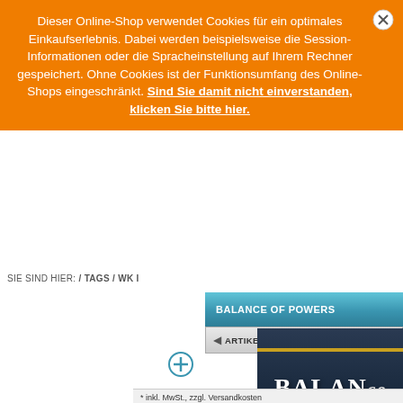Dieser Online-Shop verwendet Cookies für ein optimales Einkaufserlebnis. Dabei werden beispielsweise die Session-Informationen oder die Spracheinstellung auf Ihrem Rechner gespeichert. Ohne Cookies ist der Funktionsumfang des Online-Shops eingeschränkt. Sind Sie damit nicht einverstanden, klicken Sie bitte hier.
SIE SIND HIER: / TAGS / WK I
BALANCE OF POWERS
◄ ARTIKEL ZURÜCK
[Figure (photo): Book cover showing 'Balance of Powers' text in large white letters on a dark blue/navy background]
* inkl. MwSt., zzgl. Versandkosten